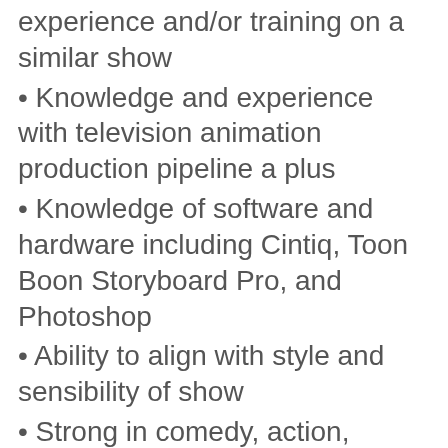experience and/or training on a similar show
Knowledge and experience with television animation production pipeline a plus
Knowledge of software and hardware including Cintiq, Toon Boon Storyboard Pro, and Photoshop
Ability to align with style and sensibility of show
Strong in comedy, action, emotional storytelling, and character interaction
Strong staging, composition and cinematography skills
Ability to draw characters and environments on model within show